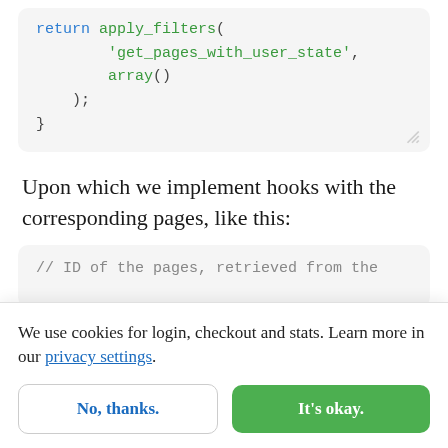[Figure (screenshot): Code block showing PHP: return apply_filters( 'get_pages_with_user_state', array() );]
Upon which we implement hooks with the corresponding pages, like this:
[Figure (screenshot): Partial code block showing comment: // ID of the pages, retrieved from the]
We use cookies for login, checkout and stats. Learn more in our privacy settings.
No, thanks.
It's okay.